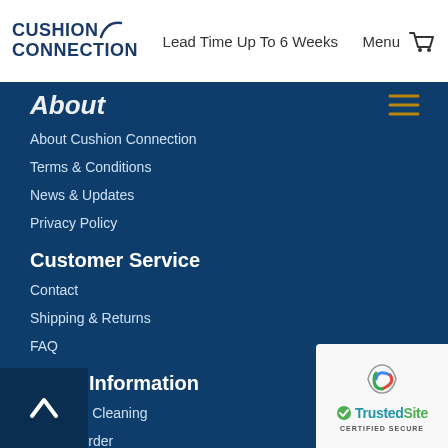Cushion Connection — Lead Time Up To 6 Weeks Menu
About
About Cushion Connection
Terms & Conditions
News & Updates
Privacy Policy
Customer Service
Contact
Shipping & Returns
FAQ
Other Information
Care And Cleaning
How to Order
How to Measure
Cushion Features